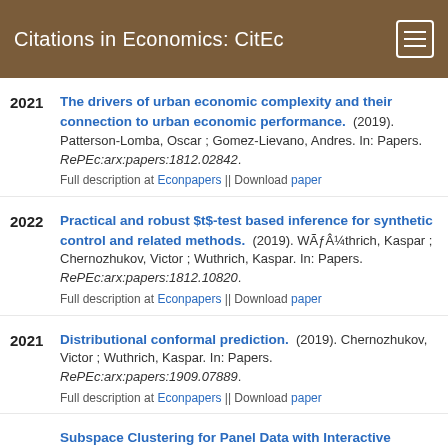Citations in Economics: CitEc
The drivers of urban economic complexity and their connection to urban economic performance. (2019). Patterson-Lomba, Oscar ; Gomez-Lievano, Andres. In: Papers. RePEc:arx:papers:1812.02842. Full description at Econpapers || Download paper. 2021
Practical and robust $t$-test based inference for synthetic control and related methods. (2019). WÃƒÂ¼thrich, Kaspar ; Chernozhukov, Victor ; Wuthrich, Kaspar. In: Papers. RePEc:arx:papers:1812.10820. Full description at Econpapers || Download paper. 2022
Distributional conformal prediction. (2019). Chernozhukov, Victor ; Wuthrich, Kaspar. In: Papers. RePEc:arx:papers:1909.07889. Full description at Econpapers || Download paper. 2021
Subspace Clustering for Panel Data with Interactive Effects. (2019). Tony, Hon Keung ; Qu, Hao ; Gao, Wei ;